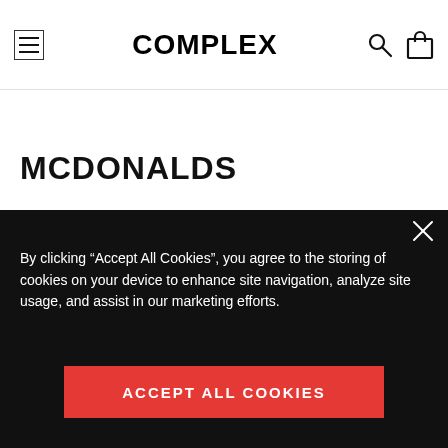COMPLEX
MCDONALDS
[Figure (photo): Dark navy blue background with partial yellow McDonald's golden arch visible in upper center]
By clicking “Accept All Cookies”, you agree to the storing of cookies on your device to enhance site navigation, analyze site usage, and assist in our marketing efforts.
ACCEPT ALL COOKIES